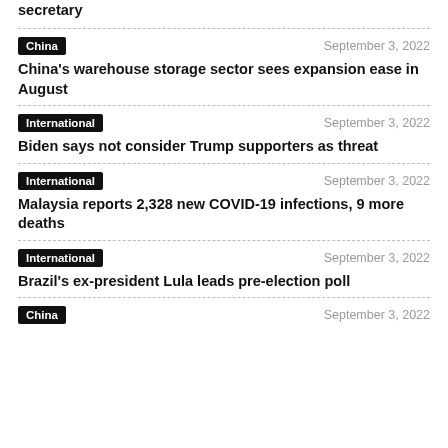secretary
China
September 3, 2022
China's warehouse storage sector sees expansion ease in August
International
September 3, 2022
Biden says not consider Trump supporters as threat
International
September 3, 2022
Malaysia reports 2,328 new COVID-19 infections, 9 more deaths
International
September 3, 2022
Brazil's ex-president Lula leads pre-election poll
China
September 3, 2022